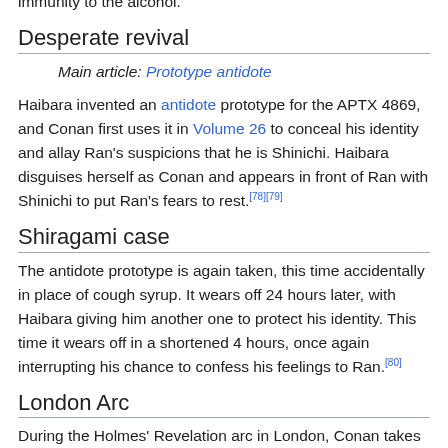immunity to the alcohol.
Desperate revival
Main article: Prototype antidote
Haibara invented an antidote prototype for the APTX 4869, and Conan first uses it in Volume 26 to conceal his identity and allay Ran's suspicions that he is Shinichi. Haibara disguises herself as Conan and appears in front of Ran with Shinichi to put Ran's fears to rest.[78][79]
Shiragami case
The antidote prototype is again taken, this time accidentally in place of cough syrup. It wears off 24 hours later, with Haibara giving him another one to protect his identity. This time it wears off in a shortened 4 hours, once again interrupting his chance to confess his feelings to Ran.[80]
London Arc
During the Holmes' Revelation arc in London, Conan takes an antidote so he can go overseas, because "Conan Edogawa" does not exist in real life, and has no